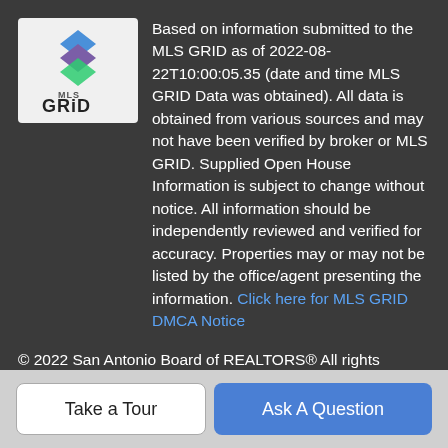[Figure (logo): MLS GRID logo — white/light background box with stacked colored diamond shapes and text 'MLS GRID']
Based on information submitted to the MLS GRID as of 2022-08-22T10:00:05.35 (date and time MLS GRID Data was obtained). All data is obtained from various sources and may not have been verified by broker or MLS GRID. Supplied Open House Information is subject to change without notice. All information should be independently reviewed and verified for accuracy. Properties may or may not be listed by the office/agent presenting the information. Click here for MLS GRID DMCA Notice
© 2022 San Antonio Board of REALTORS® All rights reserved. IDX information is provided exclusively for consumers' personal, non-commercial use and may not be used for any purpose other than to identify prospective properties consumers may be interested in purchasing. Information is deemed reliable but is not guaranteed accurate by the MLS or Green Residential. Last updated 2022-08-22T10:32:45.17.
Take a Tour
Ask A Question